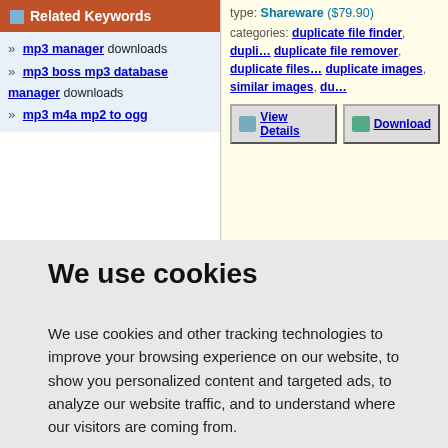Related Keywords
» mp3 manager downloads
» mp3 boss mp3 database manager downloads
» mp3 m4a mp2 to ogg
type: Shareware ($79.90)
categories: duplicate file finder, dupli... duplicate file remover, duplicate files... duplicate images, similar images, du...
View Details | Download
We use cookies
We use cookies and other tracking technologies to improve your browsing experience on our website, to show you personalized content and targeted ads, to analyze our website traffic, and to understand where our visitors are coming from.
I agree   Change my preferences